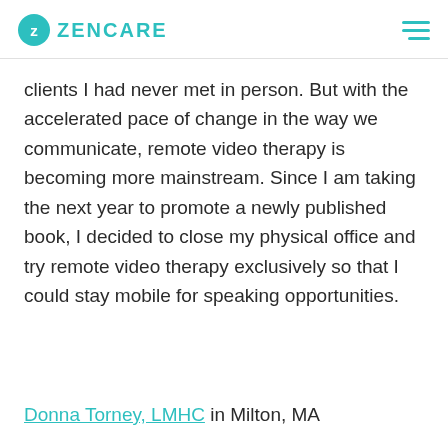ZENCARE
clients I had never met in person. But with the accelerated pace of change in the way we communicate, remote video therapy is becoming more mainstream. Since I am taking the next year to promote a newly published book, I decided to close my physical office and try remote video therapy exclusively so that I could stay mobile for speaking opportunities.
Donna Torney, LMHC in Milton, MA